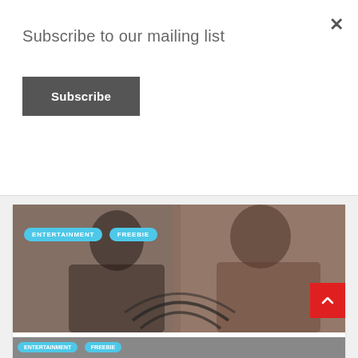Subscribe to our mailing list
Subscribe
[Figure (photo): Two people sitting side by side in a studio setting; woman on left in black lace jacket, man on right in brown suit with purple shirt. Tags: ENTERTAINMENT, FREEBIE overlaid in blue pill-shaped labels.]
GET PASSES FOR AN EARLY SCREENING OF HONK FOR JESUS. SAVE YOUR SOUL
BY BECKY   3 DAYS AGO